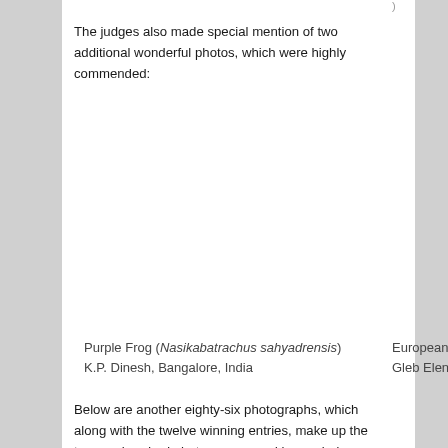The judges also made special mention of two additional wonderful photos, which were highly commended:
[Figure (photo): Photo of Purple Frog (Nasikabatrachus sahyadrensis) — image area is blank/white in this page crop]
Purple Frog (Nasikabatrachus sahyadrensis) K.P. Dinesh, Bangalore, India
European... Gleb Elen...
Below are another eighty-six photographs, which along with the twelve winning entries, make up the top one hundred photos, as scored by our judges. We hope you enjoy viewing these photos as much as we do. Please click on any of the photos on this page to see larger versions of them.